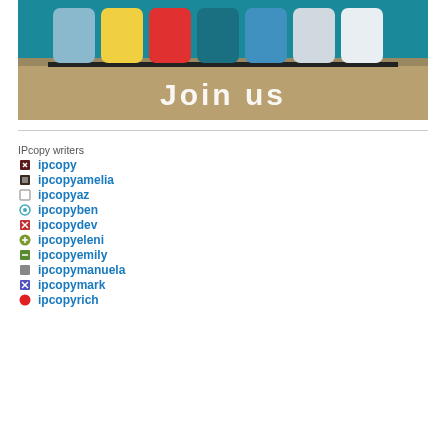[Figure (photo): Photo of colorful chairs (blue, yellow, red, white) on a teal background with wooden surface below, overlaid with 'Join us' text in white bold font]
IPcopy writers
ipcopy
ipcopyamelia
ipcopyaz
ipcopyben
ipcopydev
ipcopyeleni
ipcopyemily
ipcopymanuela
ipcopymark
ipcopyrich